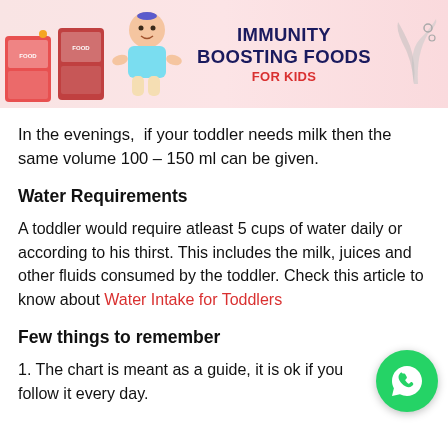[Figure (illustration): Banner header with immunity boosting foods for kids branding, showing food product boxes, a baby/toddler, title text, and a decorative icon on the right.]
In the evenings,  if your toddler needs milk then the same volume 100 – 150 ml can be given.
Water Requirements
A toddler would require atleast 5 cups of water daily or according to his thirst. This includes the milk, juices and other fluids consumed by the toddler. Check this article to know about Water Intake for Toddlers
Few things to remember
1. The chart is meant as a guide, it is ok if you follow it every day.